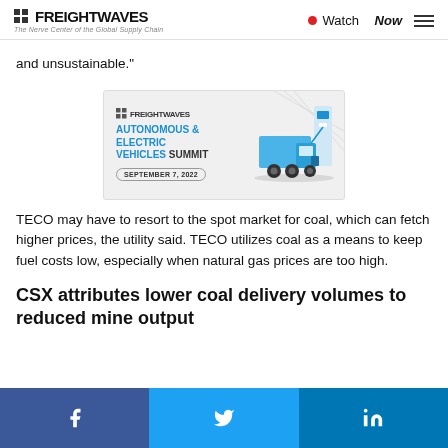FREIGHTWAVES — The Nerve Center of the Global Supply Chain | Watch Now
and unsustainable."
[Figure (illustration): FreightWaves Autonomous & Electric Vehicles Summit advertisement banner with truck illustration, dated September 7, 2022]
TECO may have to resort to the spot market for coal, which can fetch higher prices, the utility said. TECO utilizes coal as a means to keep fuel costs low, especially when natural gas prices are too high.
CSX attributes lower coal delivery volumes to reduced mine output
Share on Facebook | Share on Twitter | Share on LinkedIn